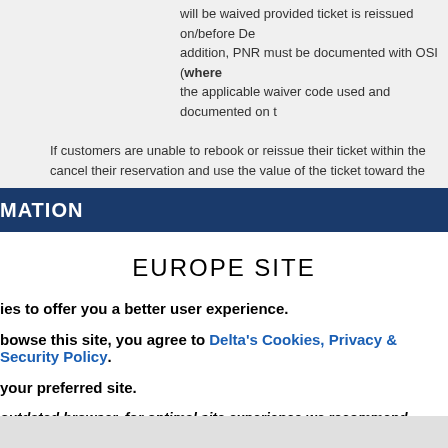will be waived provided ticket is reissued on/before De addition, PNR must be documented with OSI (where the applicable waiver code used and documented on t
If customers are unable to rebook or reissue their ticket within the cancel their reservation and use the value of the ticket toward the
MATION
EUROPE SITE
ies to offer you a better user experience.
bowse this site, you agree to Delta's Cookies, Privacy & Security Policy.
your preferred site.
outdated browser, for optimal site experience we recommend updating to a later
ISIT EUROPE SITE
CHOOSE ANOTHER SITE